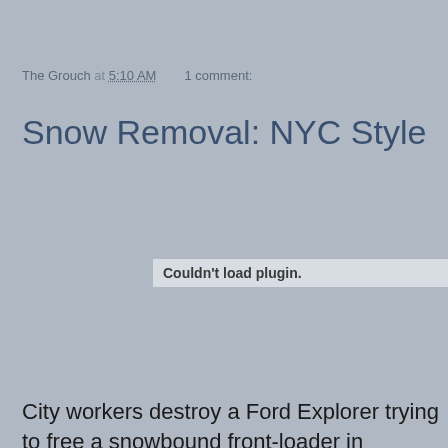The Grouch at 5:10 AM   1 comment:
Snow Removal: NYC Style
[Figure (other): Plugin placeholder box with text 'Couldn't load plugin.']
City workers destroy a Ford Explorer trying to free a snowbound front-loader in Brooklyn Heights, New York after